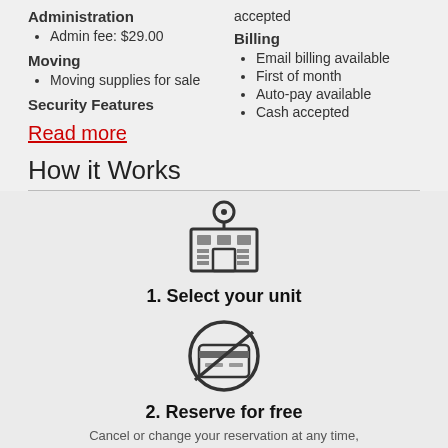Administration
Admin fee: $29.00
Moving
Moving supplies for sale
Security Features
Read more
accepted
Billing
Email billing available
First of month
Auto-pay available
Cash accepted
How it Works
[Figure (illustration): Building with location pin icon]
1. Select your unit
[Figure (illustration): Credit card with no-symbol (cancel) icon]
2. Reserve for free
Cancel or change your reservation at any time, risk-free